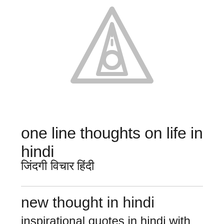[Figure (illustration): A gray road/tunnel warning sign icon — triangle shape with a road vanishing point and circular element inside, rendered in light gray]
one line thoughts on life in hindi
जिंदगी विचार हिंदी
new thought in hindi
inspirational quotes in hindi with